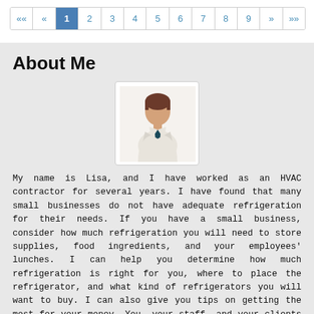[Figure (other): Pagination navigation bar with page numbers: «« « 1 2 3 4 5 6 7 8 9 » »»; page 1 is highlighted in blue]
About Me
[Figure (illustration): Avatar/profile illustration of a person in a white shirt and dark tie with brown hair, shown from the waist up on a white card with border]
My name is Lisa, and I have worked as an HVAC contractor for several years. I have found that many small businesses do not have adequate refrigeration for their needs. If you have a small business, consider how much refrigeration you will need to store supplies, food ingredients, and your employees' lunches. I can help you determine how much refrigeration is right for you, where to place the refrigerator, and what kind of refrigerators you will want to buy. I can also give you tips on getting the most for your money. You, your staff, and your clients will be happier when you have enough refrigeration.